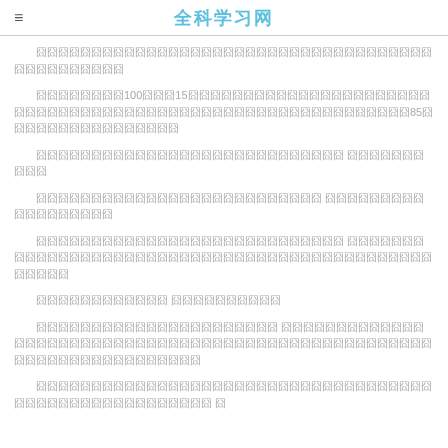全科学习网
囧囧囧囧囧囧囧囧囧囧囧囧囧囧囧囧囧囧囧囧囧囧囧囧囧囧囧囧囧囧囧囧囧囧囧囧囧囧囧囧囧囧囧囧囧囧
囧囧囧囧囧囧囧囧100囧囧囧15囧囧囧囧囧囧囧囧囧囧囧囧囧囧囧囧囧囧囧囧囧囧囧囧囧囧囧囧囧囧囧囧囧囧囧囧囧囧囧囧囧囧囧囧囧囧囧囧囧囧囧85囧囧囧囧囧囧囧囧囧囧囧囧囧囧囧囧
囧囧囧囧囧囧囧囧囧囧囧囧囧囧囧囧囧囧囧囧囧囧囧囧囧囧囧囧 囧囧囧囧囧囧囧囧囧囧
囧囧囧囧囧囧囧囧囧囧囧囧囧囧囧囧囧囧囧囧囧囧囧囧囧囧 囧囧囧囧囧囧囧囧囧囧囧囧囧囧囧囧囧囧
囧囧囧囧囧囧囧囧囧囧囧囧囧囧囧囧囧囧囧囧囧囧囧囧囧囧囧囧 囧囧囧囧囧囧囧囧囧囧囧囧囧囧囧囧囧囧囧囧囧囧囧囧囧囧囧囧囧囧囧囧囧囧囧囧囧囧囧囧囧囧囧囧囧囧囧囧囧囧
囧囧囧囧囧囧囧囧囧囧囧囧 囧囧囧囧囧囧囧囧囧囧
囧囧囧囧囧囧囧囧囧囧囧囧囧囧囧囧囧囧囧囧囧囧 囧囧囧囧囧囧囧囧囧囧囧囧囧囧囧囧囧囧囧囧囧囧囧囧囧囧囧囧囧囧囧囧囧囧囧囧囧囧囧囧囧囧囧囧囧囧囧囧囧囧囧囧囧囧囧囧囧囧囧囧囧囧囧囧囧囧囧囧
囧囧囧囧囧囧囧囧囧囧囧囧囧囧囧囧囧囧囧囧囧囧囧囧囧囧囧囧囧囧囧囧囧囧囧囧囧囧囧囧囧囧囧囧囧囧囧囧囧囧囧囧囧囧 囧